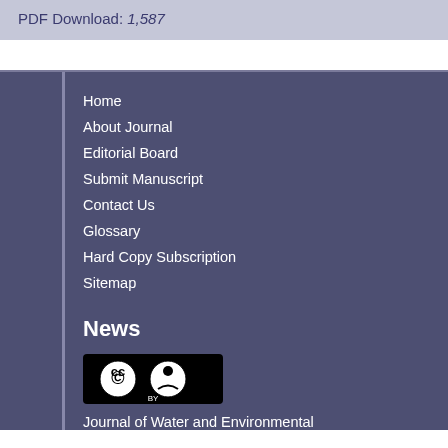PDF Download: 1,587
Home
About Journal
Editorial Board
Submit Manuscript
Contact Us
Glossary
Hard Copy Subscription
Sitemap
News
[Figure (logo): Creative Commons CC BY license logo]
Journal of Water and Environmental